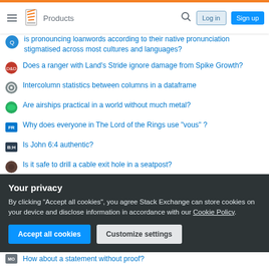Stack Exchange Navigation: hamburger menu, SO logo, Products, Search, Log in, Sign up
is pronouncing loanwords according to their native pronunciation stigmatised across most cultures and languages?
Does a ranger with Land's Stride ignore damage from Spike Growth?
Intercolumn statistics between columns in a dataframe
Are airships practical in a world without much metal?
Why does everyone in The Lord of the Rings use "vous" ?
Is John 6:4 authentic?
Is it safe to drill a cable exit hole in a seatpost?
Why does 'luck out' have the completely opposite meaning to 'out of luck'?
Your privacy
By clicking "Accept all cookies", you agree Stack Exchange can store cookies on your device and disclose information in accordance with our Cookie Policy.
Accept all cookies   Customize settings
How about a statement without proof?